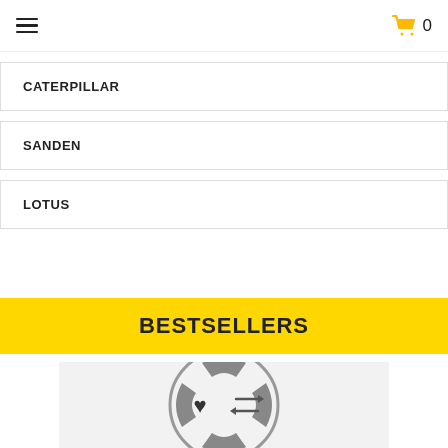☰  🛒 0
CATERPILLAR
SANDEN
LOTUS
BESTSELLERS
[Figure (illustration): Product image placeholder showing a circular icon with a heart symbol on the left and a compare/switch icon on the right, on a light gray background]